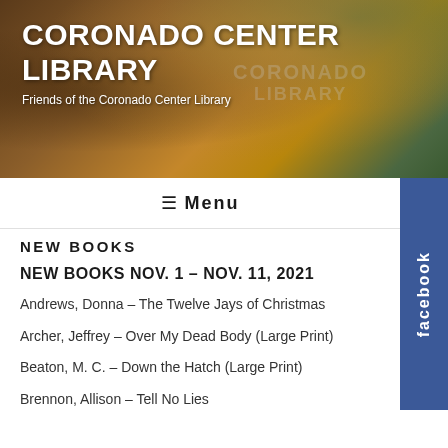[Figure (photo): Header banner photo of a building with a tiled/shingle roof and trees in the background]
CORONADO CENTER LIBRARY
Friends of the Coronado Center Library
≡  Menu
NEW BOOKS
NEW BOOKS NOV. 1 – NOV. 11, 2021
Andrews, Donna – The Twelve Jays of Christmas
Archer, Jeffrey – Over My Dead Body (Large Print)
Beaton, M. C. – Down the Hatch (Large Print)
Brennon, Allison – Tell No Lies